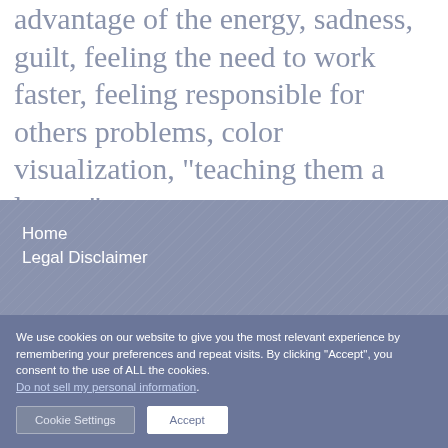advantage of the energy, sadness, guilt, feeling the need to work faster, feeling responsible for others problems, color visualization, "teaching them a lesson"
Home
Legal Disclaimer
We use cookies on our website to give you the most relevant experience by remembering your preferences and repeat visits. By clicking “Accept”, you consent to the use of ALL the cookies. Do not sell my personal information.
Cookie Settings  Accept